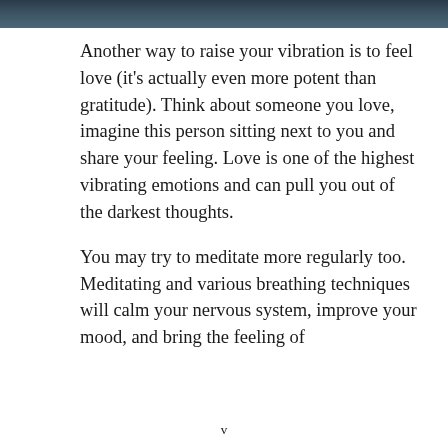[Figure (photo): Dark ocean/water scene at the top of the page, appearing as a header image strip]
Another way to raise your vibration is to feel love (it’s actually even more potent than gratitude). Think about someone you love, imagine this person sitting next to you and share your feeling. Love is one of the highest vibrating emotions and can pull you out of the darkest thoughts.
You may try to meditate more regularly too. Meditating and various breathing techniques will calm your nervous system, improve your mood, and bring the feeling of
v